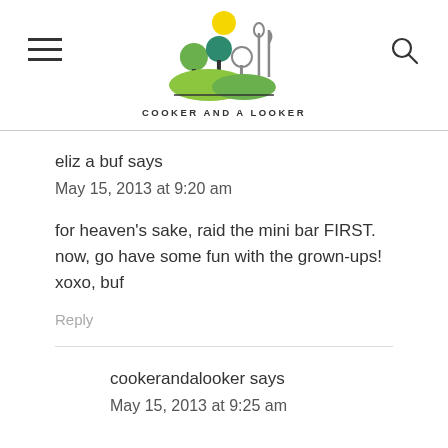[Figure (logo): Cooker and a Looker blog logo with illustrated trees and utensils on green hills with yellow sun]
eliz a buf says
May 15, 2013 at 9:20 am
for heaven's sake, raid the mini bar FIRST. now, go have some fun with the grown-ups! xoxo, buf
Reply
cookerandalooker says
May 15, 2013 at 9:25 am